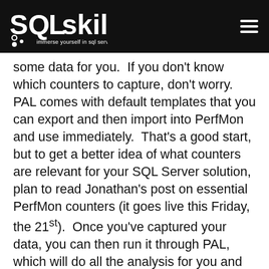SQLskills — immerse yourself in sql server
some data for you.  If you don't know which counters to capture, don't worry.  PAL comes with default templates that you can export and then import into PerfMon and use immediately.  That's a good start, but to get a better idea of what counters are relevant for your SQL Server solution, plan to read Jonathan's post on essential PerfMon counters (it goes live this Friday, the 21st).  Once you've captured your data, you can then run it through PAL, which will do all the analysis for you and create pretty graphs.  For step-by-step instructions on how to use PAL, and to view some of those lovely graphs, check out this post from Jonathan, Free Tools for the DBA: PAL Tool.  Did you